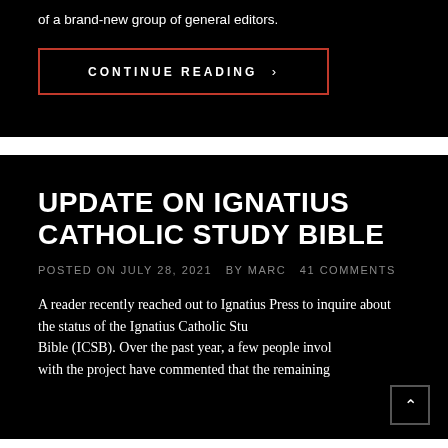of a brand-new group of general editors.
CONTINUE READING >
UPDATE ON IGNATIUS CATHOLIC STUDY BIBLE
POSTED ON JULY 28, 2021  BY MARC  41 COMMENTS
A reader recently reached out to Ignatius Press to inquire about the status of the Ignatius Catholic Study Bible (ICSB). Over the past year, a few people involved with the project have commented that the remaining